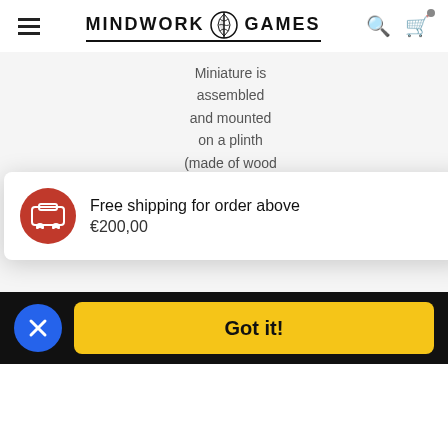MINDWORK GAMES
|  | Description | Time |
| --- | --- | --- |
| Assembled with plinth | Miniature is assembled and mounted on a plinth (made of wood or resin). On request, it can be primed with matt black or | Takes 2 weeks to be |
Free shipping for order above €200,00
Got it!